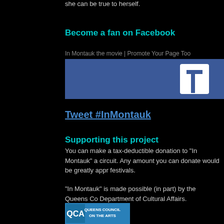she can be true to herself.
Become a fan on Facebook
In Montauk the movie | Promote Your Page Too
[Figure (screenshot): Facebook page banner with blue background and white 'f' logo partial]
Tweet #InMontauk
Supporting this project
You can make a tax-deductible donation to "In Montauk" a circuit. Any amount you can donate would be greatly appr festivals.
"In Montauk" is made possible (in part) by the Queens Co Department of Cultural Affairs.
[Figure (logo): Queens Council on the Arts (QCA) logo — blue rectangle with white text]